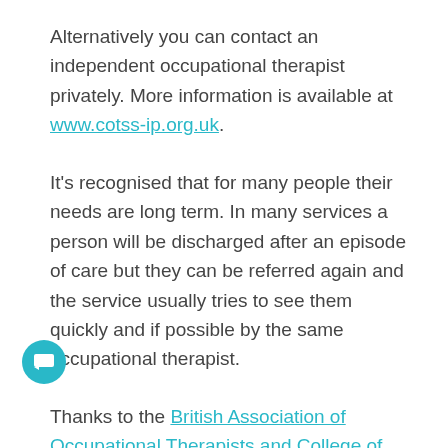Alternatively you can contact an independent occupational therapist privately. More information is available at www.cotss-ip.org.uk.
It's recognised that for many people their needs are long term. In many services a person will be discharged after an episode of care but they can be referred again and the service usually tries to see them quickly and if possible by the same occupational therapist.
Thanks to the British Association of Occupational Therapists and College of Occupational Therapists for help in producing this article.
If you found this article helpful you may enjoy:
Tips for getting the right care at home
How can you help someone who refuses food?